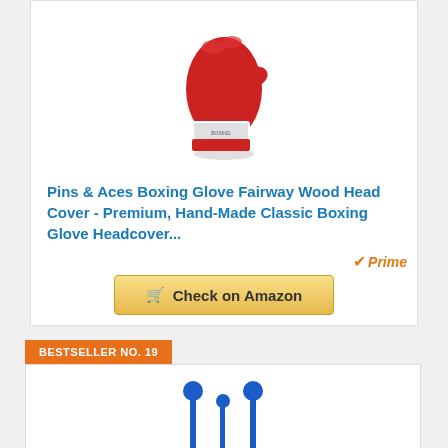[Figure (photo): Red boxing glove product image on white background]
Pins & Aces Boxing Glove Fairway Wood Head Cover - Premium, Hand-Made Classic Boxing Glove Headcover...
[Figure (logo): Amazon Prime badge with orange checkmark and italic Prime text]
Check on Amazon
BESTSELLER NO. 19
[Figure (photo): Blue tee product image on white background, partially visible]